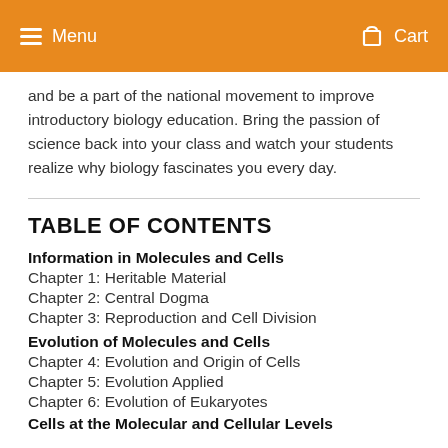Menu  Cart
and be a part of the national movement to improve introductory biology education. Bring the passion of science back into your class and watch your students realize why biology fascinates you every day.
TABLE OF CONTENTS
Information in Molecules and Cells
Chapter 1: Heritable Material
Chapter 2: Central Dogma
Chapter 3: Reproduction and Cell Division
Evolution of Molecules and Cells
Chapter 4: Evolution and Origin of Cells
Chapter 5: Evolution Applied
Chapter 6: Evolution of Eukaryotes
Cells at the Molecular and Cellular Levels